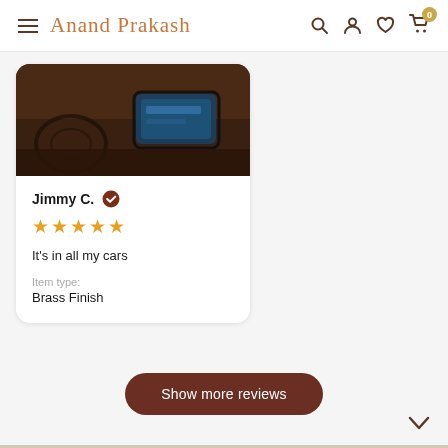Anand Prakash — navigation bar with search, account, wishlist, cart (0)
[Figure (screenshot): Car interior dashboard/infotainment screen photo, dark ambiance]
Jimmy C. ✔
★★★★★
It's in all my cars
Item type:
Brass Finish
Show more reviews